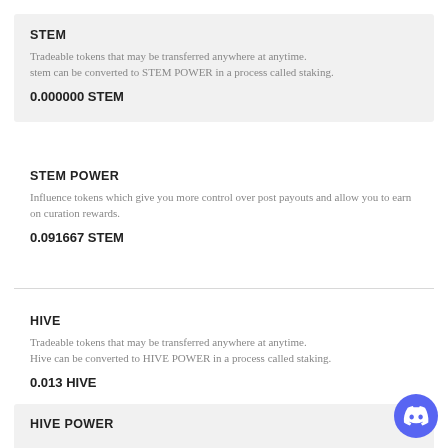STEM
Tradeable tokens that may be transferred anywhere at anytime. stem can be converted to STEM POWER in a process called staking.
0.000000 STEM
STEM POWER
Influence tokens which give you more control over post payouts and allow you to earn on curation rewards.
0.091667 STEM
HIVE
Tradeable tokens that may be transferred anywhere at anytime. Hive can be converted to HIVE POWER in a process called staking.
0.013 HIVE
HIVE POWER